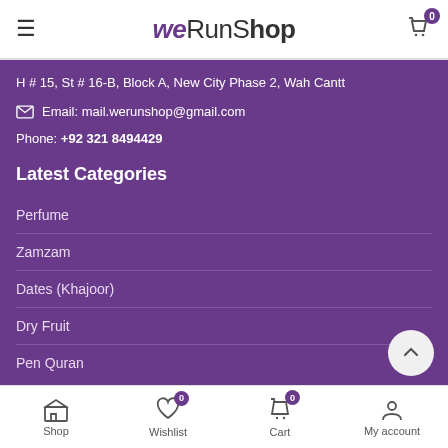WeRunShop
H # 15, St # 16-B, Block A, New City Phase 2, Wah Cantt
Email: mail.werunshop@gmail.com
Phone: +92 321 8494429
Latest Categories
Perfume
Zamzam
Dates (Khajoor)
Dry Fruit
Pen Quran
Shop  Wishlist 0  Cart 0  My account